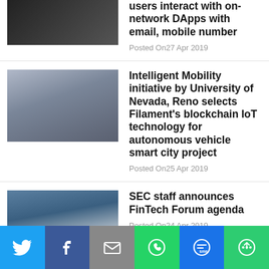users interact with on-network DApps with email, mobile number
Posted On27 Apr 2019
Intelligent Mobility initiative by University of Nevada, Reno selects Filament's blockchain IoT technology for autonomous vehicle smart city project
Posted On25 Apr 2019
SEC staff announces FinTech Forum agenda
Posted On24 Apr 2019
Cardano partner EMURGO announces blockchain explorer Seiza